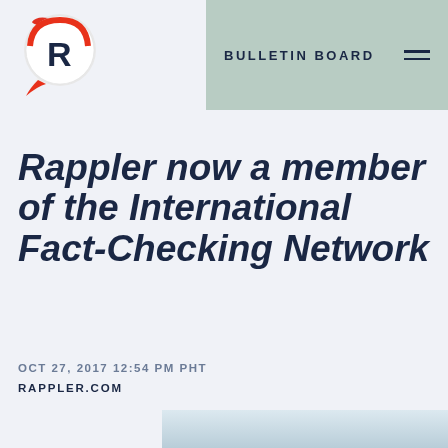BULLETIN BOARD
Rappler now a member of the International Fact-Checking Network
OCT 27, 2017 12:54 PM PHT
RAPPLER.COM
[Figure (photo): Rappler logo on a light blue/white background, partially visible at bottom of page]